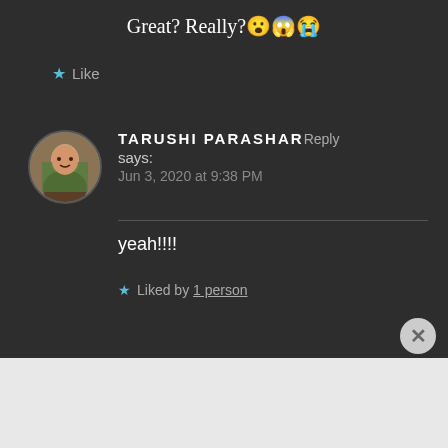Great? Really?😮😱😭
★ Like
TARUSHI PARASHAR Reply says: Jun 3, 2020 at 9:38 PM
yeah!!!!
★ Liked by 1 person
Advertisements
Share, Discuss, Collaborate, P2. Powered by WordPress